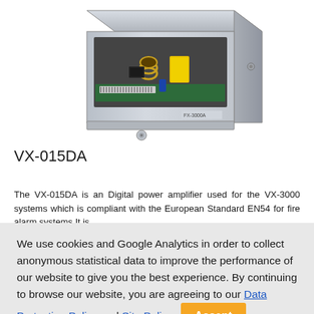[Figure (photo): VX-015DA digital power amplifier module — a rectangular metal enclosure (silver/grey) opened to show internal PCB with components including a yellow capacitor, inductor coil, and connector strip. The label 'FX-3000A' visible on the front panel.]
VX-015DA
The VX-015DA is an Digital power amplifier used for the VX-3000 systems which is compliant with the European Standard EN54 for fire alarm systems.It is
We use cookies and Google Analytics in order to collect anonymous statistical data to improve the performance of our website to give you the best experience. By continuing to browse our website, you are agreeing to our Data Protection Policy and Site Policy. Accept